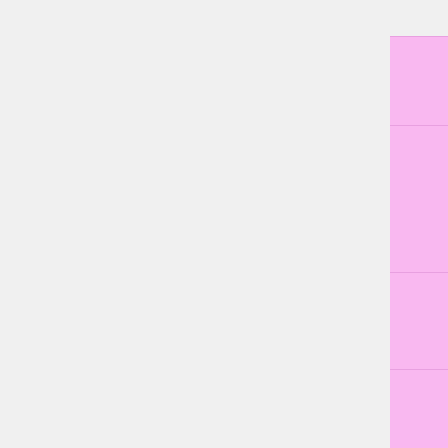| Category | Members |
| --- | --- |
|  | Bangles • Fings... |
| Twinkle Eyed Ponies | Tic Tac Toe • Mi... • Quackers • Bri... |
| Twice As Fancy Ponies | Sugarberry • Mi... Love Melody • Dancing Butterff... Sweet Tooth • Up, Up, and Aw... |
| Flutter Ponies | Wingsong • Tro... • Wind Drifter • ... |
| Big Brother Ponies | Salty • Tex • Qu... Slugger • Steam... 4-Speed |
| Princess Ponies | Princess Primro... Princess Serena... Princess Sparkl... Princess Starbu... Princess Tiffany... Princess Royal... |